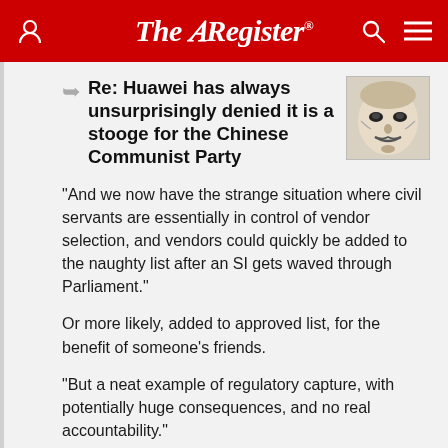The Register
Re: Huawei has always unsurprisingly denied it is a stooge for the Chinese Communist Party
"And we now have the strange situation where civil servants are essentially in control of vendor selection, and vendors could quickly be added to the naughty list after an SI gets waved through Parliament."
Or more likely, added to approved list, for the benefit of someone's friends.
"But a neat example of regulatory capture, with potentially huge consequences, and no real accountability."
Mission accomplished then. /S